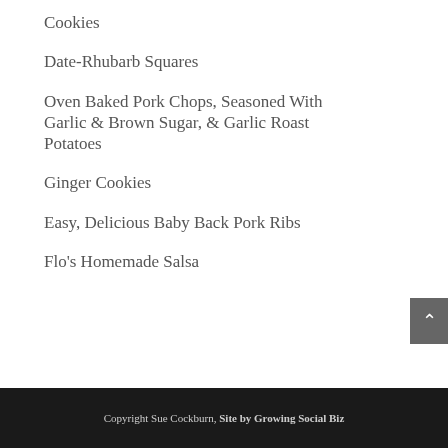Cookies
Date-Rhubarb Squares
Oven Baked Pork Chops, Seasoned With Garlic & Brown Sugar, & Garlic Roast Potatoes
Ginger Cookies
Easy, Delicious Baby Back Pork Ribs
Flo's Homemade Salsa
Copyright Sue Cockburn, Site by Growing Social Biz